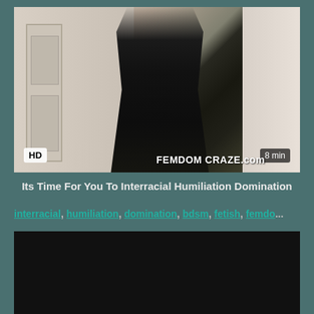[Figure (screenshot): Video thumbnail showing a woman in black lingerie standing in front of a white door, holding an object. HD badge in bottom left, '8 min' badge in bottom right, 'FEMDOM CRAZE.com' watermark.]
Its Time For You To Interracial Humiliation Domination
interracial, humiliation, domination, bdsm, fetish, femdo...
[Figure (screenshot): Second video thumbnail, mostly black/dark content.]